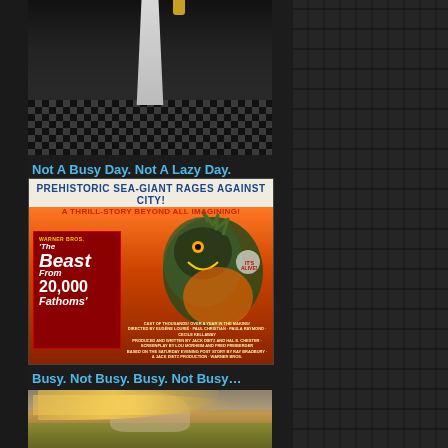[Figure (photo): Person in white dress walking on checkered floor, partially cropped]
Not A Busy Day. Not A Lazy Day.
[Figure (photo): Movie poster for 'The Beast From 20,000 Fathoms' - Warner Bros. - showing prehistoric sea-giant creature attacking city with text 'PREHISTORIC SEA-GIANT RAGES AGAINST CITY! A THRILL-STORY BEYOND ALL IMAGINING!']
Busy. Not Busy. Busy. Not Busy…
[Figure (photo): Woman with long blonde hair blowing in wind in a field]